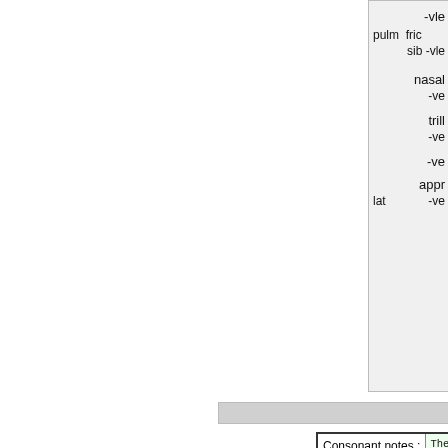|  |  |
| --- | --- |
| pulm  fric | -vle |
|  | sib -vle |
| nasal | -ve |
| trill | -ve |
|  | -ve |
| appr |  |
| lat | -ve |
|  |  |
| --- | --- |
| Consonant notes : | The af
be tre
never |
| Vowel notes : | It is
a vowe
restri
though
reali
unequ |
| Stresscat: | None |
| Stress : | Probab |